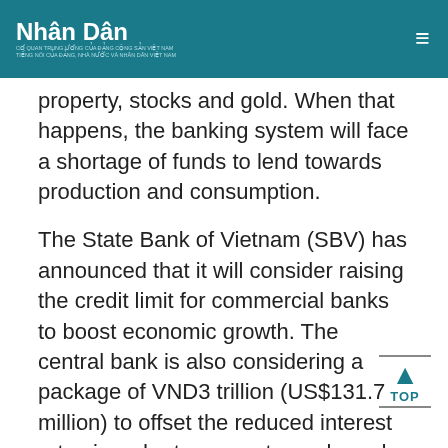Nhân Dân
property, stocks and gold. When that happens, the banking system will face a shortage of funds to lend towards production and consumption.
The State Bank of Vietnam (SBV) has announced that it will consider raising the credit limit for commercial banks to boost economic growth. The central bank is also considering a package of VND3 trillion (US$131.7 million) to offset the reduced interest rates in order to support people and businesses.
SBV Deputy Governor Dao Minh Tu said the